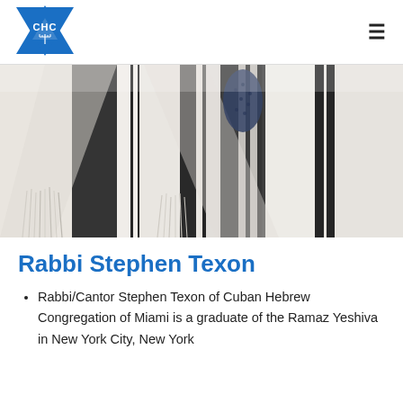[Figure (logo): Cuban Hebrew Congregation logo: blue Star of David with CHC letters and menorah inside]
[Figure (photo): Close-up photo of white and black striped Jewish prayer shawls (tallit) with fringes (tzitzit)]
Rabbi Stephen Texon
Rabbi/Cantor Stephen Texon of Cuban Hebrew Congregation of Miami is a graduate of the Ramaz Yeshiva in New York City, New York